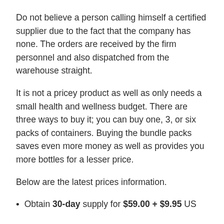Do not believe a person calling himself a certified supplier due to the fact that the company has none. The orders are received by the firm personnel and also dispatched from the warehouse straight.
It is not a pricey product as well as only needs a small health and wellness budget. There are three ways to buy it; you can buy one, 3, or six packs of containers. Buying the bundle packs saves even more money as well as provides you more bottles for a lesser price.
Below are the latest prices information.
Obtain 30-day supply for $59.00 + $9.95 US